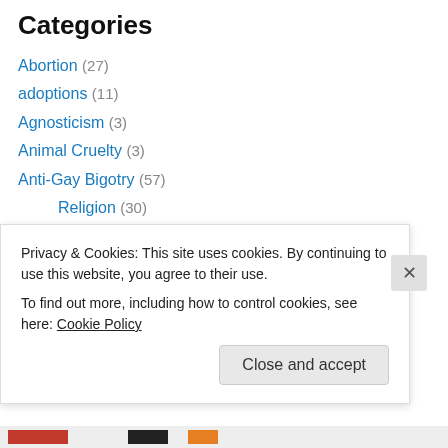Categories
Abortion (27)
adoptions (11)
Agnosticism (3)
Animal Cruelty (3)
Anti-Gay Bigotry (57)
Religion (30)
Apocalypse / Rapture (3)
Apostasy (3)
Art (1)
Atheism (25)
Blasphemy (9)
Bullying (10)
Privacy & Cookies: This site uses cookies. By continuing to use this website, you agree to their use.
To find out more, including how to control cookies, see here: Cookie Policy